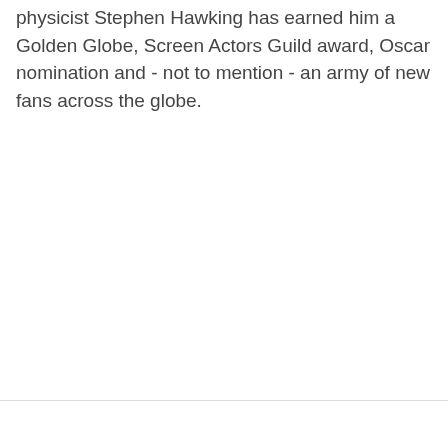physicist Stephen Hawking has earned him a Golden Globe, Screen Actors Guild award, Oscar nomination and - not to mention - an army of new fans across the globe.